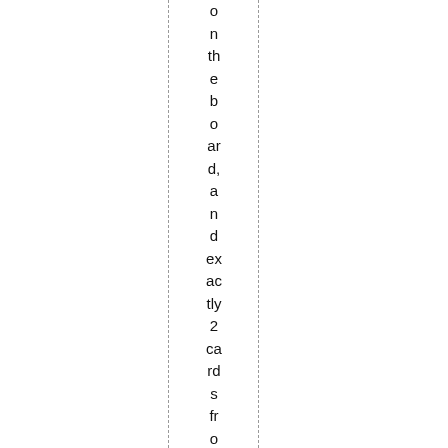on the board, and exactly 2 cards from their hand. Not